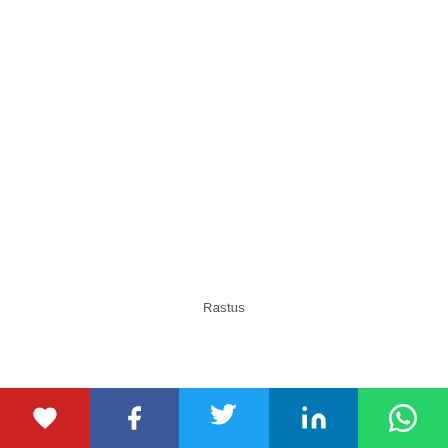Rastus
Dr Nicolette Scourse is an academic,
[Figure (infographic): Social media sharing bar with heart/like, Facebook, Twitter, LinkedIn, and WhatsApp buttons in red, dark blue, light blue, blue, and green respectively]